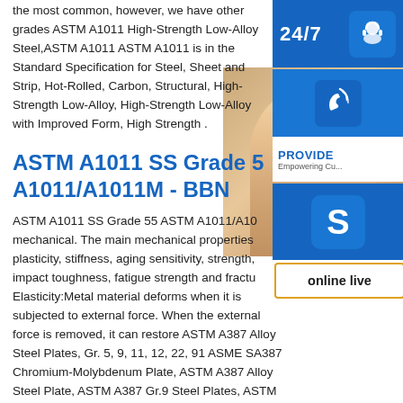the most common, however, we have other grades ASTM A1011 High-Strength Low-Alloy Steel,ASTM A1011 ASTM A1011 is in the Standard Specification for Steel, Sheet and Strip, Hot-Rolled, Carbon, Structural, High-Strength Low-Alloy, High-Strength Low-Alloy with Improved Form, High Strength .
ASTM A1011 SS Grade 55 A1011/A1011M - BBN
ASTM A1011 SS Grade 55 ASTM A1011/A1011M mechanical. The main mechanical properties plasticity, stiffness, aging sensitivity, strength, impact toughness, fatigue strength and fracture. Elasticity:Metal material deforms when it is subjected to external force. When the external force is removed, it can restore ASTM A387 Alloy Steel Plates, Gr. 5, 9, 11, 12, 22, 91 ASME SA387 Chromium-Molybdenum Plate, ASTM A387 Alloy Steel Plate, ASTM A387 Gr.9 Steel Plates, ASTM A387 Grade 5 Class 1/2 Pressure Vessel Steel Plates, ASME SA387 Gr 11 CL1/CL2 Alloy Steel Plates, ASTM A387 Grade
[Figure (infographic): Customer service sidebar widget showing 24/7 support icon with headset, phone/call icon, Skype icon, PROVIDE Empowering Customers banner, and online live chat button, overlaid on a photo of a customer service representative]